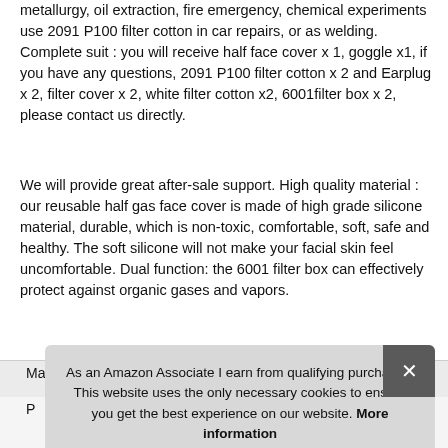metallurgy, oil extraction, fire emergency, chemical experiments—use 2091 P100 filter cotton in car repairs, or as welding. Complete suit : you will receive half face cover x 1, goggle x1, if you have any questions, 2091 P100 filter cotton x 2 and Earplug x 2, filter cover x 2, white filter cotton x2, 6001filter box x 2, please contact us directly.
We will provide great after-sale support. High quality material : our reusable half gas face cover is made of high grade silicone material, durable, which is non-toxic, comfortable, soft, safe and healthy. The soft silicone will not make your facial skin feel uncomfortable. Dual function: the 6001 filter box can effectively protect against organic gases and vapors.
As an Amazon Associate I earn from qualifying purchases. This website uses the only necessary cookies to ensure you get the best experience on our website. More information